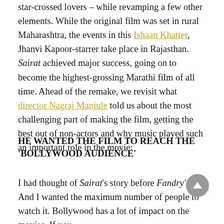star-crossed lovers – while revamping a few other elements. While the original film was set in rural Maharashtra, the events in this Ishaan Khatter, Jhanvi Kapoor-starrer take place in Rajasthan. Sairat achieved major success, going on to become the highest-grossing Marathi film of all time. Ahead of the remake, we revisit what director Nagraj Manjule told us about the most challenging part of making the film, getting the best out of non-actors and why music played such an important role in the movie:
HE WANTED THE FILM TO REACH THE 'BOLLYWOOD AUDIENCE'
I had thought of Sairat's story before Fandry's. And I wanted the maximum number of people to watch it. Bollywood has a lot of impact on the movies. If you